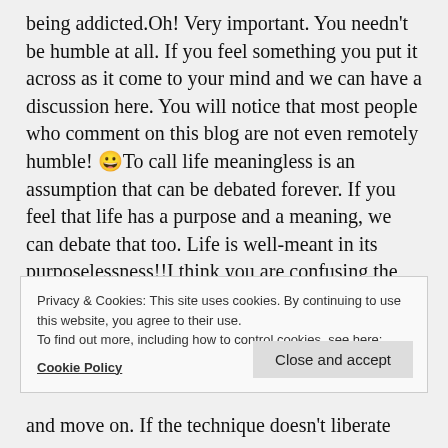being addicted.Oh! Very important. You needn't be humble at all. If you feel something you put it across as it come to your mind and we can have a discussion here. You will notice that most people who comment on this blog are not even remotely humble! 😀To call life meaningless is an assumption that can be debated forever. If you feel that life has a purpose and a meaning, we can debate that too. Life is well-meant in its purposelessness!!I think you are confusing the SKY with meditation. SKY is a technique and not meditation itself. A well-intentioned guru will provide the technique and be
Privacy & Cookies: This site uses cookies. By continuing to use this website, you agree to their use.
To find out more, including how to control cookies, see here:
Cookie Policy
and move on. If the technique doesn't liberate you